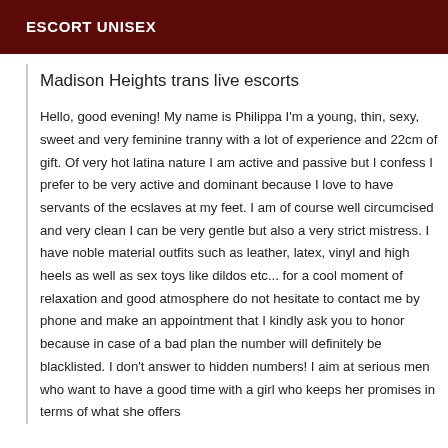ESCORT UNISEX
Madison Heights trans live escorts
Hello, good evening! My name is Philippa I'm a young, thin, sexy, sweet and very feminine tranny with a lot of experience and 22cm of gift. Of very hot latina nature I am active and passive but I confess I prefer to be very active and dominant because I love to have servants of the ecslaves at my feet. I am of course well circumcised and very clean I can be very gentle but also a very strict mistress. I have noble material outfits such as leather, latex, vinyl and high heels as well as sex toys like dildos etc... for a cool moment of relaxation and good atmosphere do not hesitate to contact me by phone and make an appointment that I kindly ask you to honor because in case of a bad plan the number will definitely be blacklisted. I don't answer to hidden numbers! I aim at serious men who want to have a good time with a girl who keeps her promises in terms of what she offers